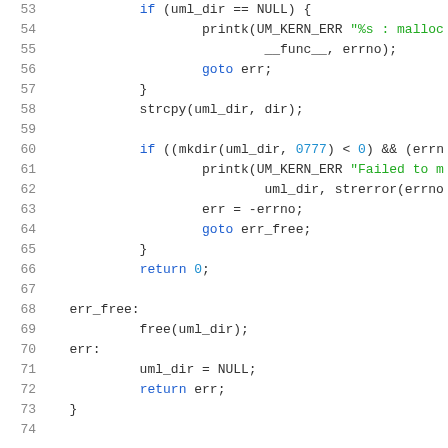[Figure (screenshot): Source code listing showing lines 53-73 of a C file with syntax highlighting. Blue keywords, green string literals, teal/blue numeric literals, dark text for identifiers.]